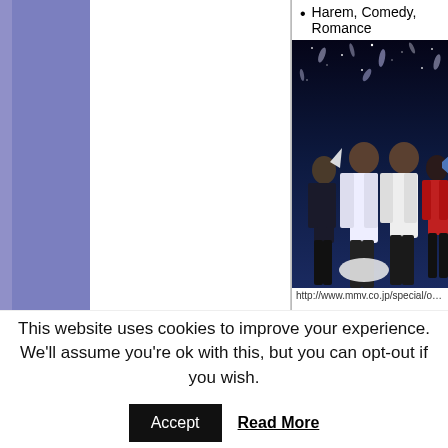Harem, Comedy, Romance
[Figure (illustration): Anime illustration showing four female characters standing together against a night sky background with feathers and stars. URL shown below: http://www.mmv.co.jp/special/oretsuba/]
http://www.mmv.co.jp/special/oretsuba/
This website uses cookies to improve your experience. We'll assume you're ok with this, but you can opt-out if you wish.
Accept    Read More